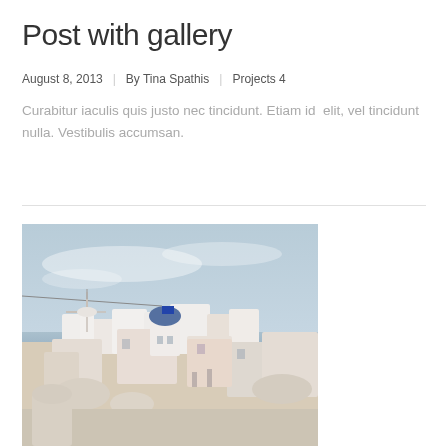Post with gallery
August 8, 2013 | By Tina Spathis | Projects 4
Curabitur iaculis quis justo nec tincidunt. Etiam id  elit, vel tincidunt nulla. Vestibulis accumsan.
Details >
[Figure (photo): Photograph of Santorini, Greece showing white-washed buildings, a windmill, blue-domed church with Greek flag, and other traditional architecture against a hazy sky.]